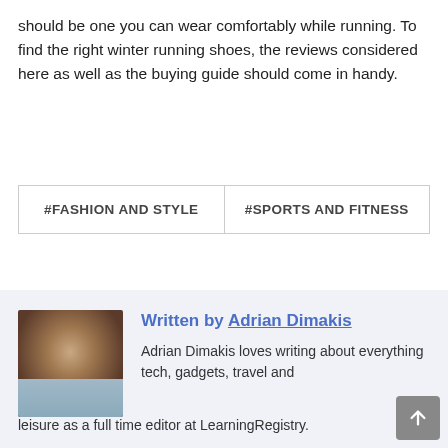should be one you can wear comfortably while running. To find the right winter running shoes, the reviews considered here as well as the buying guide should come in handy.
#FASHION AND STYLE
#SPORTS AND FITNESS
Written by Adrian Dimakis
Adrian Dimakis loves writing about everything tech, gadgets, travel and leisure as a full time editor at LearningRegistry.